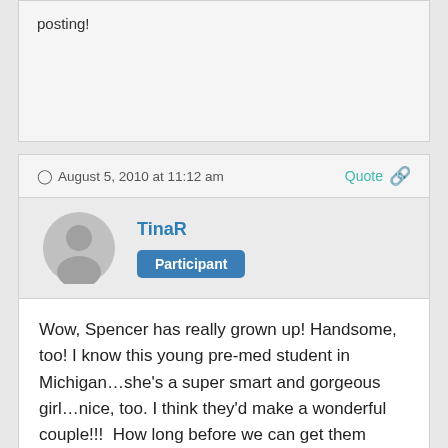posting!
August 5, 2010 at 11:12 am
Quote
TinaR
Participant
Wow, Spencer has really grown up! Handsome, too! I know this young pre-med student in Michigan…she's a super smart and gorgeous girl…nice, too. I think they'd make a wonderful couple!!!  How long before we can get them together?